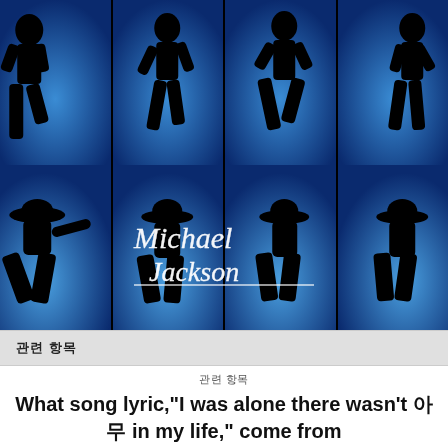[Figure (photo): Michael Jackson promotional image: two rows of four silhouetted dance panels on a blue background with 'Michael Jackson' signature overlay, and a bottom row of silhouetted performance poses.]
관련 항목
관련 항목
What song lyric,"I was alone there wasn't 아무 in my life," come from